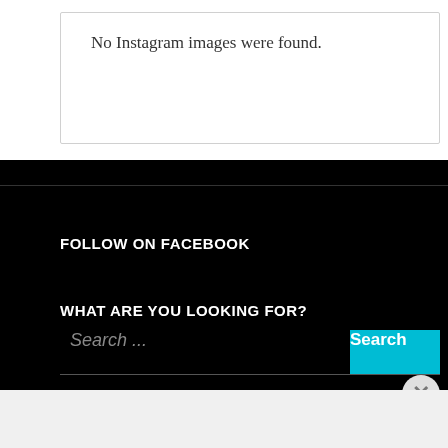No Instagram images were found.
FOLLOW ON FACEBOOK
WHAT ARE YOU LOOKING FOR?
Search ...
Advertisements
[Figure (illustration): DuckDuckGo advertisement banner: orange-red left panel with text 'Search, browse, and email with more privacy. All in One Free App' and dark right panel with DuckDuckGo duck logo and brand name.]